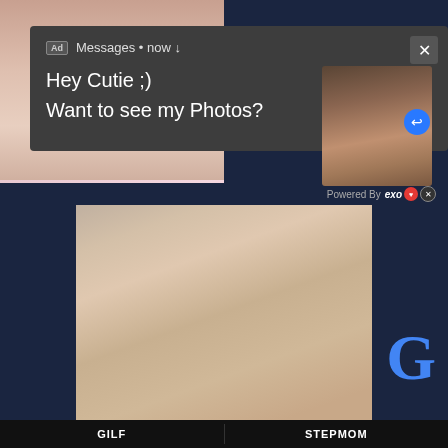[Figure (screenshot): Screenshot of adult website with ad popup overlay showing notification-style ad with text 'Hey Cutie ;) Want to see my Photos?' and thumbnail image, over background adult content images, with bottom navigation showing GILF and STEPMOM categories]
Ad Messages • now
Hey Cutie ;)
Want to see my Photos?
Powered By exo
G
GILF
STEPMOM